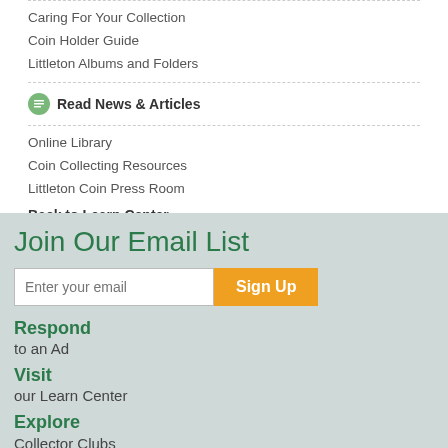Caring For Your Collection
Coin Holder Guide
Littleton Albums and Folders
Read News & Articles
Online Library
Coin Collecting Resources
Littleton Coin Press Room
Back to Learn Center
Join Our Email List
Enter your email  Sign Up
Respond to an Ad
Visit our Learn Center
Explore Collector Clubs